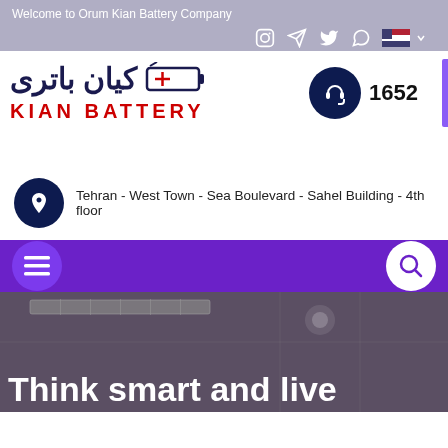Welcome to Orum Kian Battery Company
[Figure (logo): Kian Battery logo with Persian text and English text KIAN BATTERY in red]
1652
Tehran - West Town - Sea Boulevard - Sahel Building - 4th floor
Think smart and live